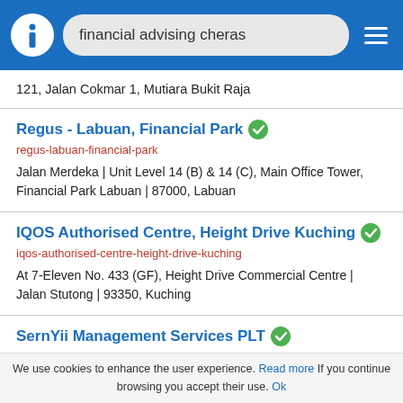financial advising cheras
121, Jalan Cokmar 1, Mutiara Bukit Raja
Regus - Labuan, Financial Park
regus-labuan-financial-park
Jalan Merdeka | Unit Level 14 (B) & 14 (C), Main Office Tower, Financial Park Labuan | 87000, Labuan
IQOS Authorised Centre, Height Drive Kuching
iqos-authorised-centre-height-drive-kuching
At 7-Eleven No. 433 (GF), Height Drive Commercial Centre | Jalan Stutong | 93350, Kuching
SernYii Management Services PLT
financial services - financial advising - accounting firm kuala lumpur
We use cookies to enhance the user experience. Read more If you continue browsing you accept their use. Ok